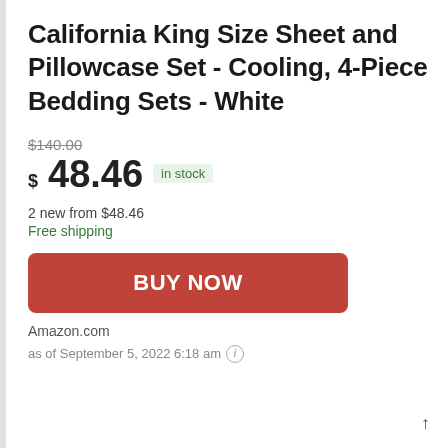California King Size Sheet and Pillowcase Set - Cooling, 4-Piece Bedding Sets - White
$140.00 (strikethrough original price)
$48.46 in stock
2 new from $48.46
Free shipping
BUY NOW
Amazon.com
as of September 5, 2022 6:18 am